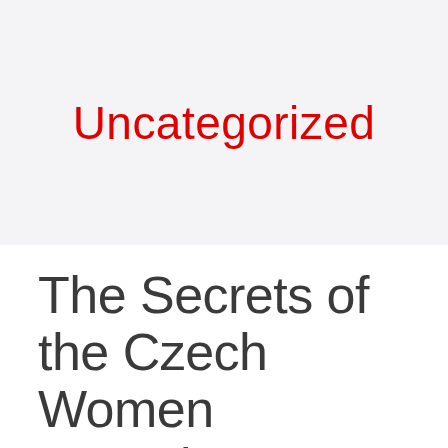Uncategorized
The Secrets of the Czech Women Organiz…